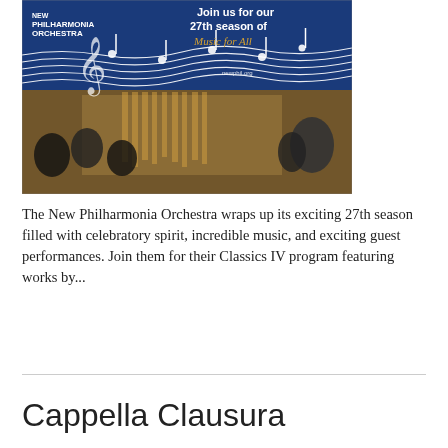[Figure (illustration): New Philharmonia Orchestra promotional banner. Dark blue background with music staff lines and notes flowing across. Text reads 'New Philharmonia Orchestra' on the left with a logo, and 'Join us for our 27th season of Music for All' on the right in white and gold text. URL newphil.org shown. Foreground shows orchestra musicians performing in a concert hall.]
The New Philharmonia Orchestra wraps up its exciting 27th season filled with celebratory spirit, incredible music, and exciting guest performances. Join them for their Classics IV program featuring works by...
Read More
Cappella Clausura